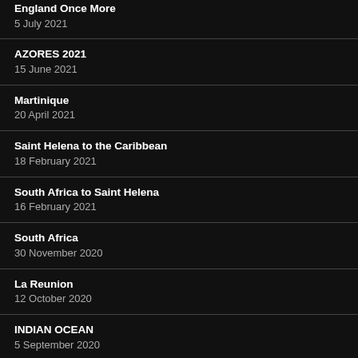England Once More
5 July 2021
AZORES 2021
15 June 2021
Martinique
20 April 2021
Saint Helena to the Caribbean
18 February 2021
South Africa to Saint Helena
16 February 2021
South Africa
30 November 2020
La Reunion
12 October 2020
INDIAN OCEAN
5 September 2020
Farewell Indonesia, Farewell Southeast Asia
3 August 2020